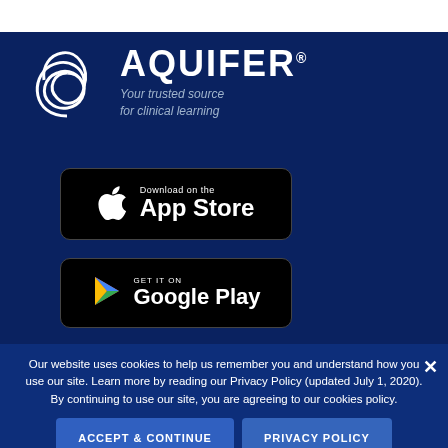[Figure (logo): Aquifer logo with swirl/infinity symbol and text 'AQUIFER - Your trusted source for clinical learning']
[Figure (screenshot): Download on the App Store button (black rounded rectangle with Apple logo)]
[Figure (screenshot): Get it on Google Play button (black rounded rectangle with Google Play triangle logo)]
Our website uses cookies to help us remember you and understand how you use our site. Learn more by reading our Privacy Policy (updated July 1, 2020). By continuing to use our site, you are agreeing to our cookies policy.
ACCEPT & CONTINUE
PRIVACY POLICY